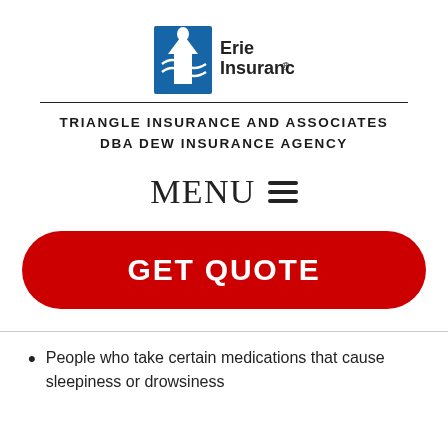[Figure (logo): Erie Insurance logo with blue building icon and 'Erie Insurance' text]
TRIANGLE INSURANCE AND ASSOCIATES
DBA DEW INSURANCE AGENCY
MENU ≡
GET QUOTE
People who take certain medications that cause sleepiness or drowsiness